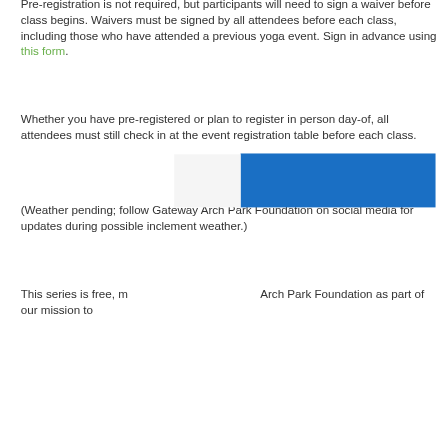Pre-registration is not required, but participants will need to sign a waiver before class begins. Waivers must be signed by all attendees before each class, including those who have attended a previous yoga event. Sign in advance using this form.
Whether you have pre-registered or plan to register in person day-of, all attendees must still check in at the event registration table before each class.
(Weather pending; follow Gateway Arch Park Foundation on social media for updates during possible inclement weather.)
This series is free, made possible by Gateway Arch Park Foundation as part of our mission to